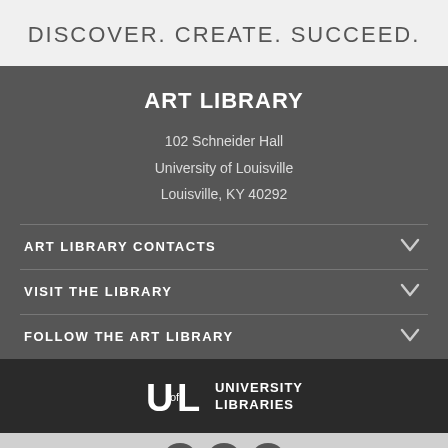DISCOVER. CREATE. SUCCEED.
ART LIBRARY
102 Schneider Hall
University of Louisville
Louisville, KY 40292
ART LIBRARY CONTACTS
VISIT THE LIBRARY
FOLLOW THE ART LIBRARY
[Figure (logo): University of Louisville University Libraries UL logo in white on dark background]
Navigation buttons: help, up, down